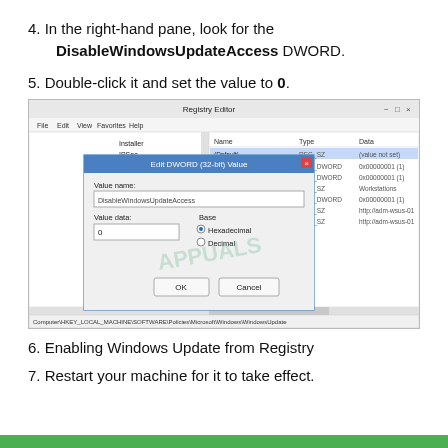4. In the right-hand pane, look for the DisableWindowsUpdateAccess DWORD.
5. Double-click it and set the value to 0.
[Figure (screenshot): Windows Registry Editor screenshot showing Edit DWORD (32-bit) Value dialog box with Value name: DisableWindowsUpdateAccess and Value data: 0, with Hexadecimal selected. Registry path shown at bottom: Computer\HKEY_LOCAL_MACHINE\SOFTWARE\Policies\Microsoft\Windows\WindowsUpdate]
6. Enabling Windows Update from Registry
7. Restart your machine for it to take effect.